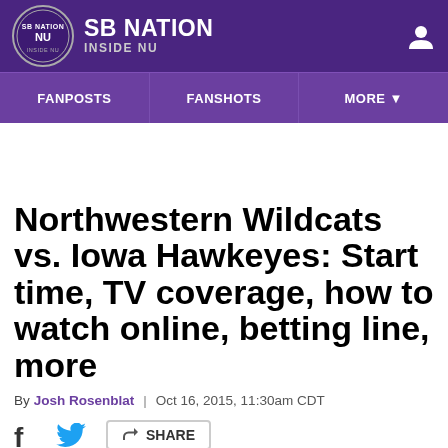SB NATION | INSIDE NU
FANPOSTS | FANSHOTS | MORE
Northwestern Wildcats vs. Iowa Hawkeyes: Start time, TV coverage, how to watch online, betting line, more
By Josh Rosenblat | Oct 16, 2015, 11:30am CDT
SHARE